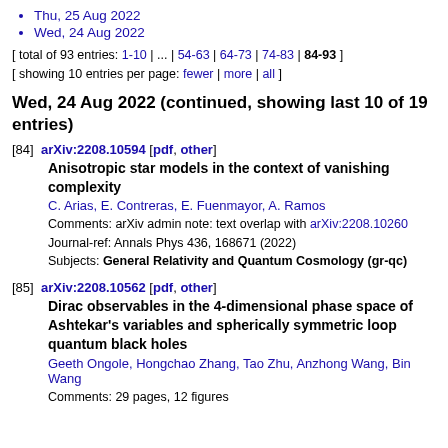Thu, 25 Aug 2022
Wed, 24 Aug 2022
[ total of 93 entries: 1-10 | ... | 54-63 | 64-73 | 74-83 | 84-93 ]
[ showing 10 entries per page: fewer | more | all ]
Wed, 24 Aug 2022 (continued, showing last 10 of 19 entries)
[84]  arXiv:2208.10594 [pdf, other]
Anisotropic star models in the context of vanishing complexity
C. Arias, E. Contreras, E. Fuenmayor, A. Ramos
Comments: arXiv admin note: text overlap with arXiv:2208.10260
Journal-ref: Annals Phys 436, 168671 (2022)
Subjects: General Relativity and Quantum Cosmology (gr-qc)
[85]  arXiv:2208.10562 [pdf, other]
Dirac observables in the 4-dimensional phase space of Ashtekar's variables and spherically symmetric loop quantum black holes
Geeth Ongole, Hongchao Zhang, Tao Zhu, Anzhong Wang, Bin Wang
Comments: 29 pages, 12 figures